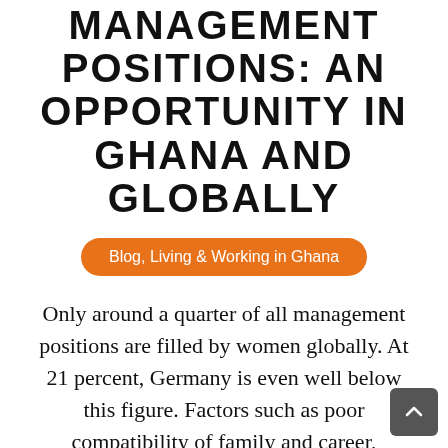MANAGEMENT POSITIONS: AN OPPORTUNITY IN GHANA AND GLOBALLY
Blog, Living & Working in Ghana
Only around a quarter of all management positions are filled by women globally. At 21 percent, Germany is even well below this figure. Factors such as poor compatibility of family and career, stereotypical thinking or